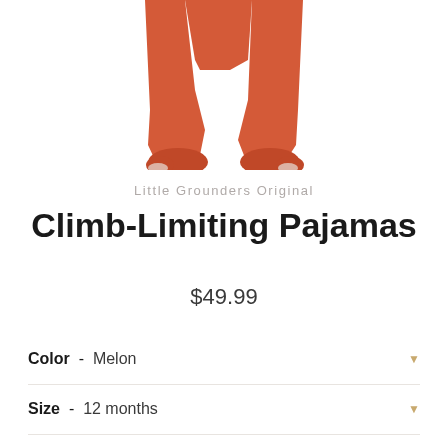[Figure (photo): Bottom portion of a child wearing orange/melon-colored footed pajamas, showing the legs and feet from below the waist]
Little Grounders Original
Climb-Limiting Pajamas
$49.99
Color  -  Melon
Size  -  12 months